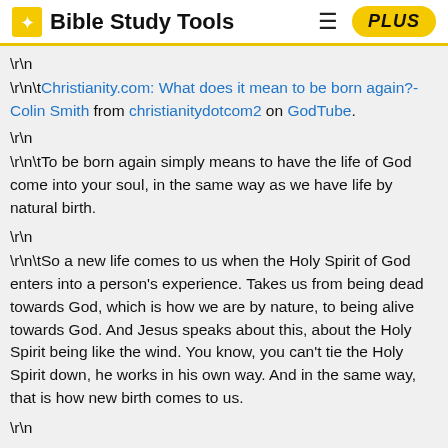Bible Study Tools
\r\n
\r\n\tChristianity.com: What does it mean to be born again?- Colin Smith from christianitydotcom2 on GodTube.
\r\n
\r\n\tTo be born again simply means to have the life of God come into your soul, in the same way as we have life by natural birth.
\r\n
\r\n\tSo a new life comes to us when the Holy Spirit of God enters into a person's experience. Takes us from being dead towards God, which is how we are by nature, to being alive towards God. And Jesus speaks about this, about the Holy Spirit being like the wind. You know, you can't tie the Holy Spirit down, he works in his own way. And in the same way, that is how new birth comes to us.
\r\n